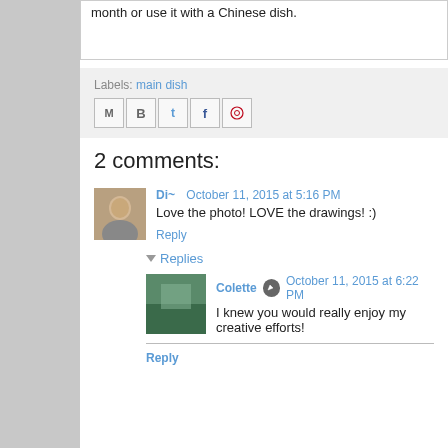month or use it with a Chinese dish.
Labels: main dish
2 comments:
Di~  October 11, 2015 at 5:16 PM
Love the photo! LOVE the drawings! :)
Reply
Replies
Colette  October 11, 2015 at 6:22 PM
I knew you would really enjoy my creative efforts!
Reply